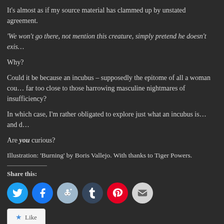It's almost as if my source material has clammed up by unstated agreement.
'We won't go there, not mention this creature, simply pretend he doesn't exis…
Why?
Could it be because an incubus – supposedly the epitome of all a woman cou… far too close to those harrowing masculine nightmares of insufficiency?
In which case, I'm rather obligated to explore just what an incubus is… and d…
Are you curious?
Illustration: 'Burning' by Boris Vallejo. With thanks to Tiger Powers.
Share this:
[Figure (infographic): Row of six social media sharing icon buttons: Twitter (blue bird), Facebook (blue f), Reddit (light blue alien), Tumblr (dark blue t), Pinterest (red P), Email (grey envelope)]
[Figure (infographic): Like button widget with star icon and 'Like' text]
Be the first to like this.